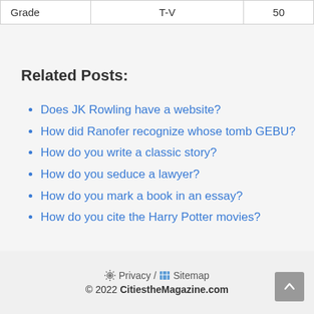| Grade | T-V | 50 |
| --- | --- | --- |
| Grade | T-V | 50 |
Related Posts:
Does JK Rowling have a website?
How did Ranofer recognize whose tomb GEBU?
How do you write a classic story?
How do you seduce a lawyer?
How do you mark a book in an essay?
How do you cite the Harry Potter movies?
Privacy / Sitemap © 2022 CitiestheMagazine.com